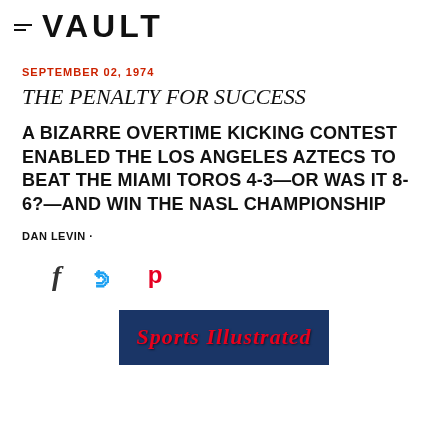≡ VAULT
SEPTEMBER 02, 1974
THE PENALTY FOR SUCCESS
A BIZARRE OVERTIME KICKING CONTEST ENABLED THE LOS ANGELES AZTECS TO BEAT THE MIAMI TOROS 4-3—OR WAS IT 8-6?—AND WIN THE NASL CHAMPIONSHIP
DAN LEVIN ·
[Figure (illustration): Sports Illustrated magazine cover partial image at bottom of page]
[Figure (infographic): Social sharing icons: Facebook (f), Twitter (bird), Pinterest (p)]